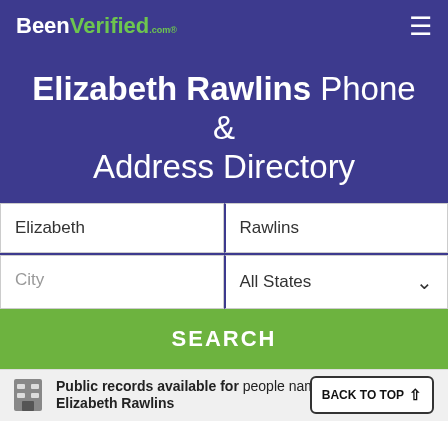BeenVerified.com
Elizabeth Rawlins Phone & Address Directory
Elizabeth
Rawlins
City
All States
SEARCH
BACK TO TOP ↑
Public records available for people named Elizabeth Rawlins